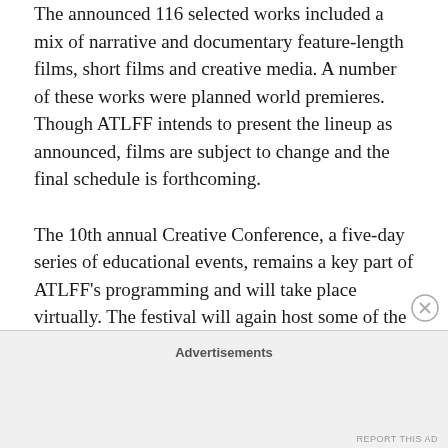The announced 116 selected works included a mix of narrative and documentary feature-length films, short films and creative media. A number of these works were planned world premieres. Though ATLFF intends to present the lineup as announced, films are subject to change and the final schedule is forthcoming.
The 10th annual Creative Conference, a five-day series of educational events, remains a key part of ATLFF's programming and will take place virtually. The festival will again host some of the top professionals in the entertainment industry to share their latest ideas, innovations and observations.
Advertisements